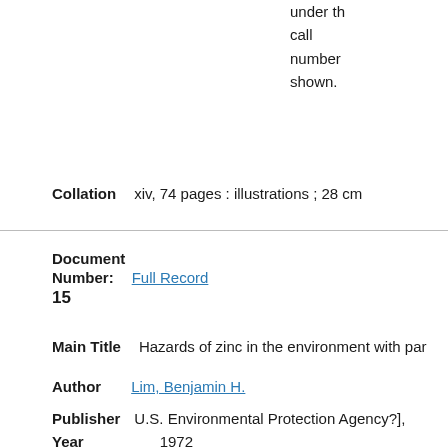under the call number shown.
Collation   xiv, 74 pages : illustrations ; 28 cm
Document Number:   Full Record
15
Main Title   Hazards of zinc in the environment with par
Author   Lim, Benjamin H.
Publisher   U.S. Environmental Protection Agency?],
Year Published   1972